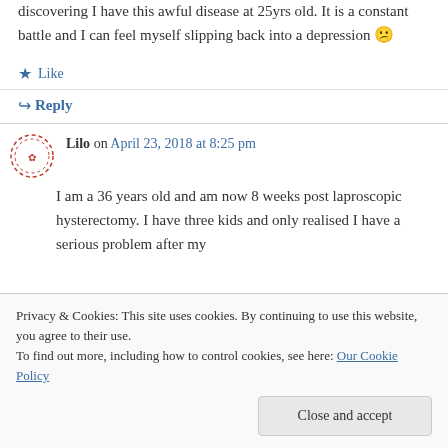discovering I have this awful disease at 25yrs old. It is a constant battle and I can feel myself slipping back into a depression 😕
★ Like
↪ Reply
Lilo on April 23, 2018 at 8:25 pm
I am a 36 years old and am now 8 weeks post laproscopic hysterectomy. I have three kids and only realised I have a serious problem after my
Privacy & Cookies: This site uses cookies. By continuing to use this website, you agree to their use.
To find out more, including how to control cookies, see here: Our Cookie Policy
Close and accept
continued to get worse. I live in a small town and